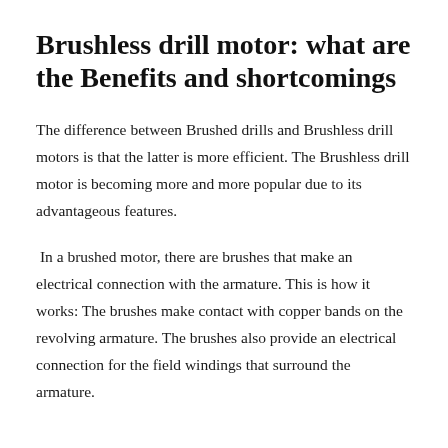Brushless drill motor: what are the Benefits and shortcomings
The difference between Brushed drills and Brushless drill motors is that the latter is more efficient. The Brushless drill motor is becoming more and more popular due to its advantageous features.
In a brushed motor, there are brushes that make an electrical connection with the armature. This is how it works: The brushes make contact with copper bands on the revolving armature. The brushes also provide an electrical connection for the field windings that surround the armature.